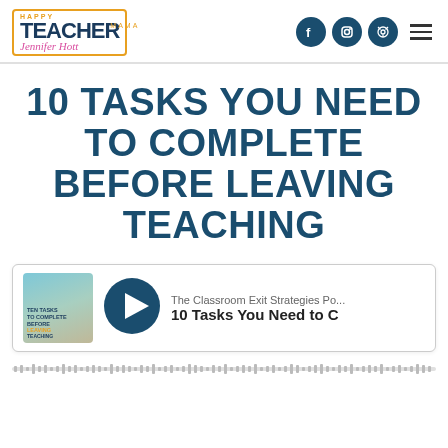Happy Teacher Mama - Jennifer Hott
10 TASKS YOU NEED TO COMPLETE BEFORE LEAVING TEACHING
[Figure (screenshot): Podcast player card showing thumbnail image of a woman and podcast text 'The Classroom Exit Strategies Po... 10 Tasks You Need to...' with a play button]
[Figure (other): Audio progress bar / waveform scrubber at the bottom of the podcast player]